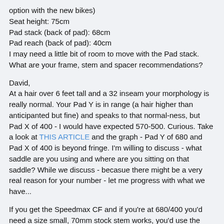option with the new bikes)
Seat height: 75cm
Pad stack (back of pad): 68cm
Pad reach (back of pad): 40cm
I may need a little bit of room to move with the Pad stack. What are your frame, stem and spacer recommendations?
David,
At a hair over 6 feet tall and a 32 inseam your morphology is really normal. Your Pad Y is in range (a hair higher than anticipanted but fine) and speaks to that normal-ness, but Pad X of 400 - I would have expected 570-500. Curious. Take a look at THIS ARTICLE and the graph - Pad Y of 680 and Pad X of 400 is beyond fringe. I'm willing to discuss - what saddle are you using and where are you sitting on that saddle? While we discuss - becasue there might be a very real reason for your number - let me progress with what we have...
If you get the Speedmax CF and if you're at 680/400 you'd need a size small, 70mm stock stem works, you'd use the 25mm spacer under the stem that looks so right and then you'd need ~45mm of pedestal to get your Pad Y. The X